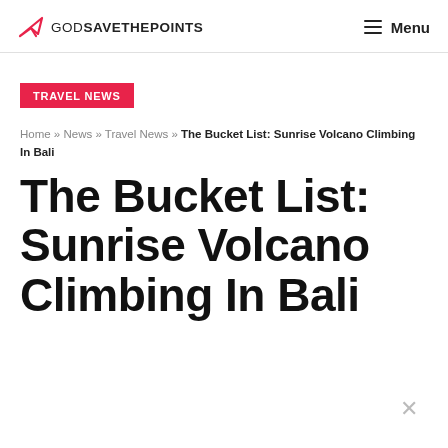GODSAVETHEPOINTS | Menu
TRAVEL NEWS
Home » News » Travel News » The Bucket List: Sunrise Volcano Climbing In Bali
The Bucket List: Sunrise Volcano Climbing In Bali